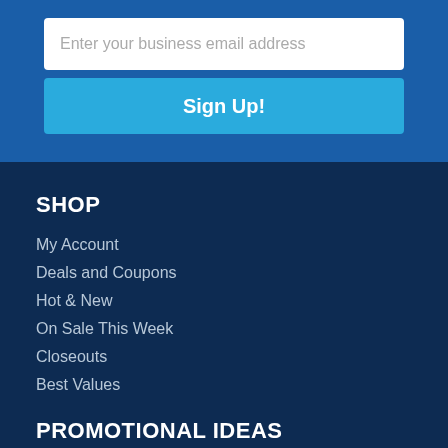[Figure (screenshot): Email signup input field with placeholder text 'Enter your business email address' on a blue background]
[Figure (screenshot): Light blue 'Sign Up!' button]
SHOP
My Account
Deals and Coupons
Hot & New
On Sale This Week
Closeouts
Best Values
PROMOTIONAL IDEAS